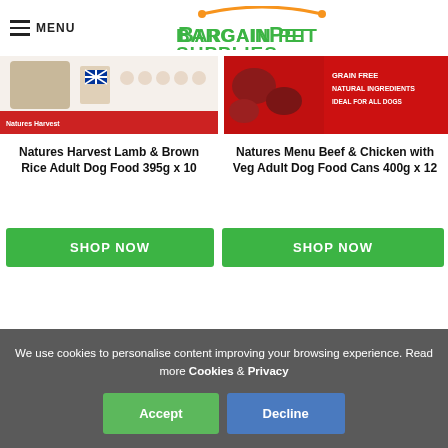MENU | Bargain Pet Supplies
[Figure (photo): Product image of Natures Harvest Lamb & Brown Rice Adult Dog Food 395g x 10 packaging]
Natures Harvest Lamb & Brown Rice Adult Dog Food 395g x 10
SHOP NOW
[Figure (photo): Product image of Natures Menu Beef & Chicken with Veg Adult Dog Food Cans 400g x 12 packaging with red background showing Grain Free, Natural Ingredients, Ideal For All Dogs]
Natures Menu Beef & Chicken with Veg Adult Dog Food Cans 400g x 12
SHOP NOW
We use cookies to personalise content improving your browsing experience. Read more Cookies & Privacy
Accept
Decline